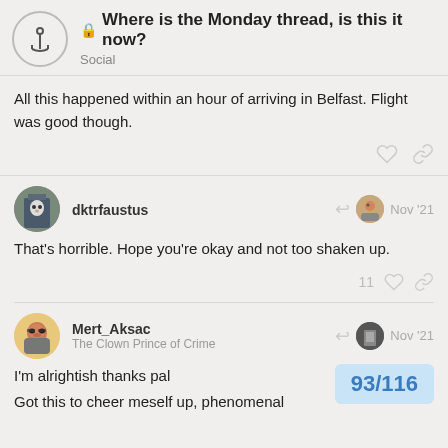🔒 Where is the Monday thread, is this it now? — Social
All this happened within an hour of arriving in Belfast. Flight was good though.
dktrfaustus — Nov '21
That's horrible. Hope you're okay and not too shaken up.
11 ♡
Mert_Aksac — The Clown Prince of Crime — Nov '21
I'm alrightish thanks pal
Got this to cheer meself up, phenomenal
93 / 116